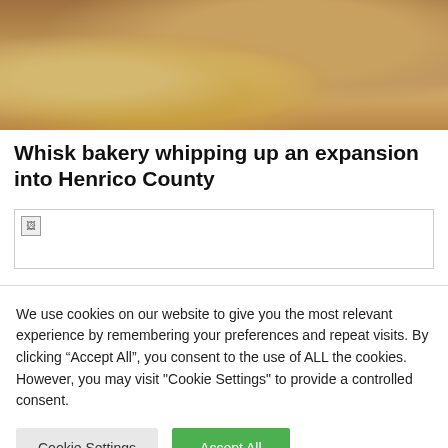[Figure (photo): Photo of a person in a tan/camel sweater standing behind a bakery display case with golden cookies and pastries]
Whisk bakery whipping up an expansion into Henrico County
[Figure (photo): Broken/unloaded image placeholder]
We use cookies on our website to give you the most relevant experience by remembering your preferences and repeat visits. By clicking “Accept All”, you consent to the use of ALL the cookies. However, you may visit "Cookie Settings" to provide a controlled consent.
Cookie Settings | Accept All